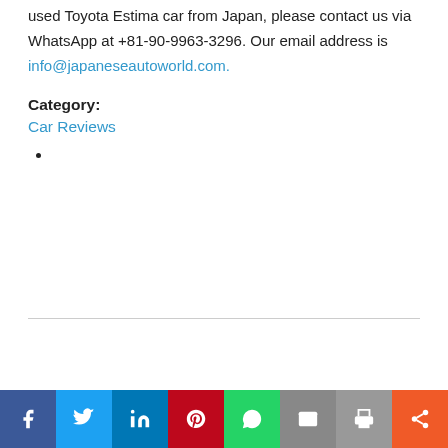used Toyota Estima car from Japan, please contact us via WhatsApp at +81-90-9963-3296. Our email address is info@japaneseautoworld.com.
Category:
Car Reviews
•
Social share bar: Facebook, Twitter, LinkedIn, Pinterest, WhatsApp, Email, Print, Share